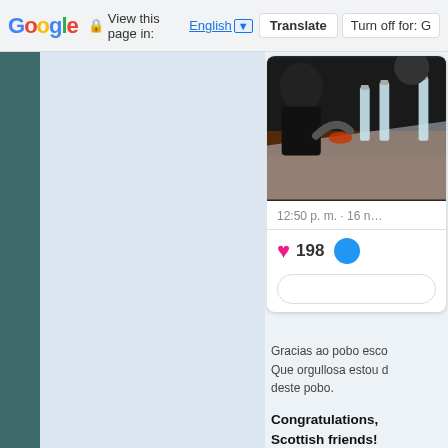Google  View this page in: English ▼  Translate  Turn off for: G
[Figure (screenshot): Partial screenshot of a social media post showing a photo of people at a table with water bottles, with a heart reaction count of 198, a comment bubble icon, and a comment input box. Timestamp shows 12:50 p. m. · 16 n...]
Gracias ao pobo esco
Que orgullosa estou (
deste pobo.
Congratulations,
Scottish friends!